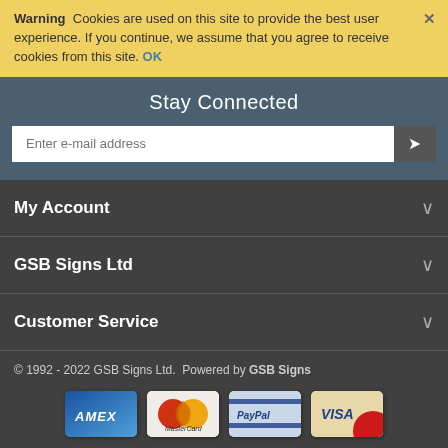Warning  Cookies are used on this site to provide the best user experience. If you continue, we assume that you agree to receive cookies from this site. OK
Stay Connected
Enter e-mail address
My Account
GSB Signs Ltd
Customer Service
© 1992 - 2022 GSB Signs Ltd.  Powered by GSB Signs
[Figure (other): Payment method icons: AMEX, MasterCard, PayPal, Visa]